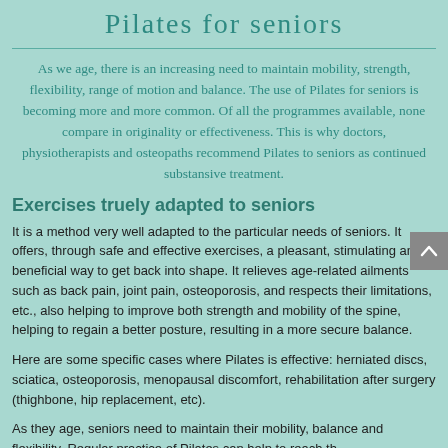Pilates for seniors
As we age, there is an increasing need to maintain mobility, strength, flexibility, range of motion and balance. The use of Pilates for seniors is becoming more and more common. Of all the programmes available, none compare in originality or effectiveness. This is why doctors, physiotherapists and osteopaths recommend Pilates to seniors as continued substansive treatment.
Exercises truely adapted to seniors
It is a method very well adapted to the particular needs of seniors. It offers, through safe and effective exercises, a pleasant, stimulating and beneficial way to get back into shape. It relieves age-related ailments such as back pain, joint pain, osteoporosis, and respects their limitations, etc., also helping to improve both strength and mobility of the spine, helping to regain a better posture, resulting in a more secure balance.
Here are some specific cases where Pilates is effective: herniated discs, sciatica, osteoporosis, menopausal discomfort, rehabilitation after surgery (thighbone, hip replacement, etc).
As they age, seniors need to maintain their mobility, balance and flexibility. Regular practice of Pilates can help to reach these...